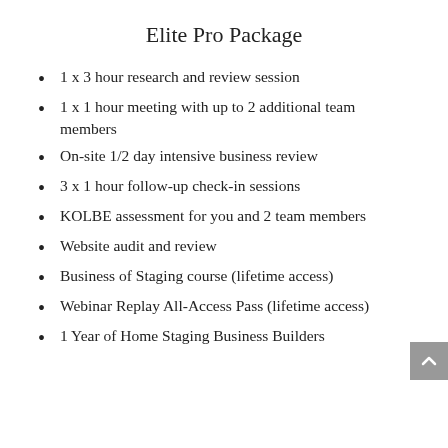Elite Pro Package
1 x 3 hour research and review session
1 x 1 hour meeting with up to 2 additional team members
On-site 1/2 day intensive business review
3 x 1 hour follow-up check-in sessions
KOLBE assessment for you and 2 team members
Website audit and review
Business of Staging course (lifetime access)
Webinar Replay All-Access Pass (lifetime access)
1 Year of Home Staging Business Builders